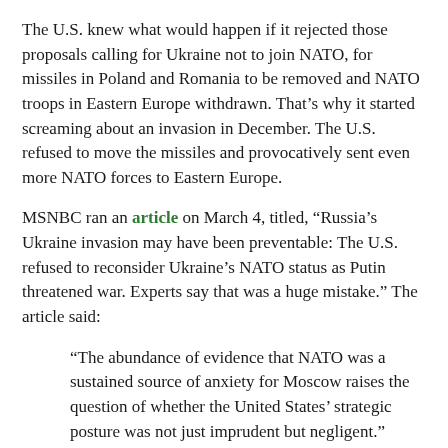The U.S. knew what would happen if it rejected those proposals calling for Ukraine not to join NATO, for missiles in Poland and Romania to be removed and NATO troops in Eastern Europe withdrawn. That's why it started screaming about an invasion in December. The U.S. refused to move the missiles and provocatively sent even more NATO forces to Eastern Europe.
MSNBC ran an article on March 4, titled, "Russia's Ukraine invasion may have been preventable: The U.S. refused to reconsider Ukraine's NATO status as Putin threatened war. Experts say that was a huge mistake." The article said:
“The abundance of evidence that NATO was a sustained source of anxiety for Moscow raises the question of whether the United States’ strategic posture was not just imprudent but negligent.”
Senator Joe Biden knew as far back as 1997 that NATO expansion, which he supported, could eventually lead to a hostile Russian reaction.